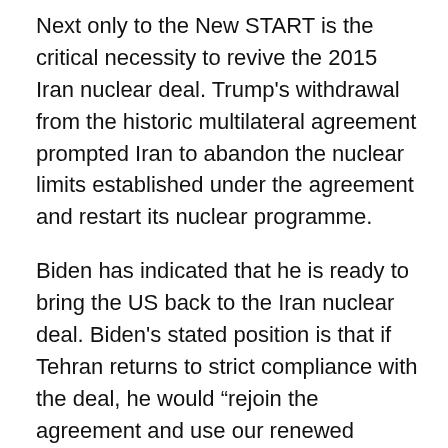Next only to the New START is the critical necessity to revive the 2015 Iran nuclear deal. Trump's withdrawal from the historic multilateral agreement prompted Iran to abandon the nuclear limits established under the agreement and restart its nuclear programme.
Biden has indicated that he is ready to bring the US back to the Iran nuclear deal. Biden's stated position is that if Tehran returns to strict compliance with the deal, he would “rejoin the agreement and use our renewed commitment to diplomacy to work with our allies to strengthen and extend it, while more effectively pushing back against Iran’s other destabilising activities.”
However, the path ahead is not going to be easy. The